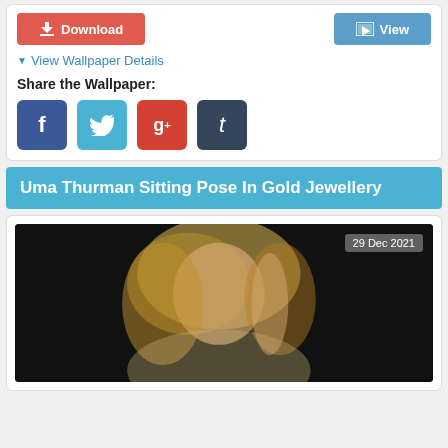[Figure (screenshot): Download and View buttons with partial image of a person in upper right corner]
▼ View Wallpaper Details
Share the Wallpaper:
[Figure (illustration): Social share buttons: Facebook (f), Twitter (bird), Google+ (g+), Tumblr (t)]
Uma Thurman Sitting Pose In Gold Jewellery
[Figure (photo): Photo of Uma Thurman posing in gold jewellery against dark background, dated 29 Dec 2021]